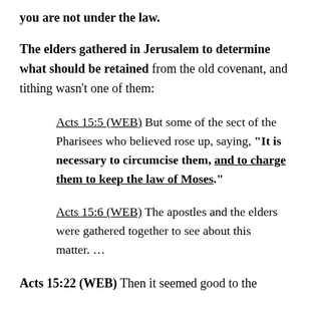you are not under the law.
The elders gathered in Jerusalem to determine what should be retained from the old covenant, and tithing wasn't one of them:
Acts 15:5 (WEB) But some of the sect of the Pharisees who believed rose up, saying, "It is necessary to circumcise them, and to charge them to keep the law of Moses."
Acts 15:6 (WEB) The apostles and the elders were gathered together to see about this matter. …
Acts 15:22 (WEB) Then it seemed good to the